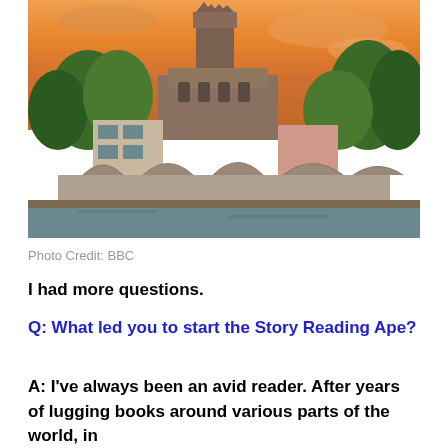[Figure (photo): Aerial/elevated view of Hereford Cathedral and old stone bridge with arches over a river, photographed at sunset with warm orange sky, green trees and brick buildings in foreground. Photo Credit: BBC]
Photo Credit: BBC
I had more questions.
Q: What led you to start the Story Reading Ape?
A: I've always been an avid reader. After years of lugging books around various parts of the world, in